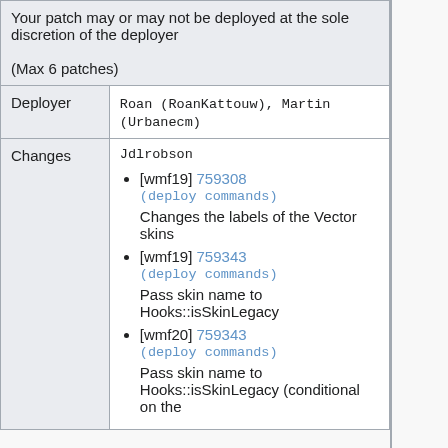Your patch may or may not be deployed at the sole discretion of the deployer
(Max 6 patches)
| Deployer | Value |
| --- | --- |
| Deployer | Roan (RoanKattouw), Martin (Urbanecm) |
| Changes | Jdlrobson
[wmf19] 759308 (deploy commands) Changes the labels of the Vector skins
[wmf19] 759343 (deploy commands) Pass skin name to Hooks::isSkinLegacy
[wmf20] 759343 (deploy commands) Pass skin name to Hooks::isSkinLegacy (conditional on the |